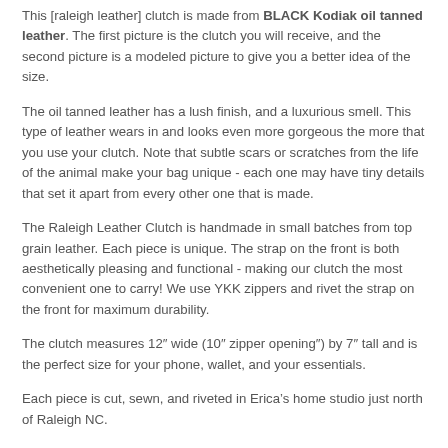This [raleigh leather] clutch is made from BLACK Kodiak oil tanned leather. The first picture is the clutch you will receive, and the second picture is a modeled picture to give you a better idea of the size.
The oil tanned leather has a lush finish, and a luxurious smell. This type of leather wears in and looks even more gorgeous the more that you use your clutch. Note that subtle scars or scratches from the life of the animal make your bag unique - each one may have tiny details that set it apart from every other one that is made.
The Raleigh Leather Clutch is handmade in small batches from top grain leather. Each piece is unique. The strap on the front is both aesthetically pleasing and functional - making our clutch the most convenient one to carry! We use YKK zippers and rivet the strap on the front for maximum durability.
The clutch measures 12" wide (10" zipper opening") by 7" tall and is the perfect size for your phone, wallet, and your essentials.
Each piece is cut, sewn, and riveted in Erica's home studio just north of Raleigh NC.